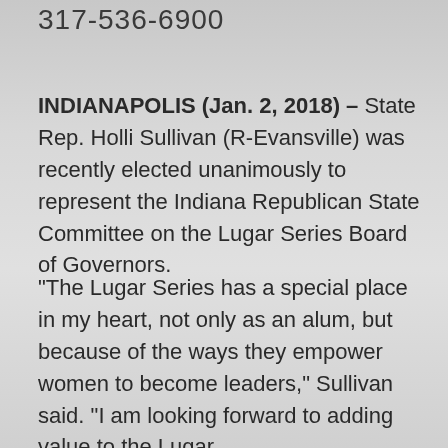317-536-6900
INDIANAPOLIS (Jan. 2, 2018) – State Rep. Holli Sullivan (R-Evansville) was recently elected unanimously to represent the Indiana Republican State Committee on the Lugar Series Board of Governors.
“The Lugar Series has a special place in my heart, not only as an alum, but because of the ways they empower women to become leaders,” Sullivan said. “I am looking forward to adding value to the Lugar